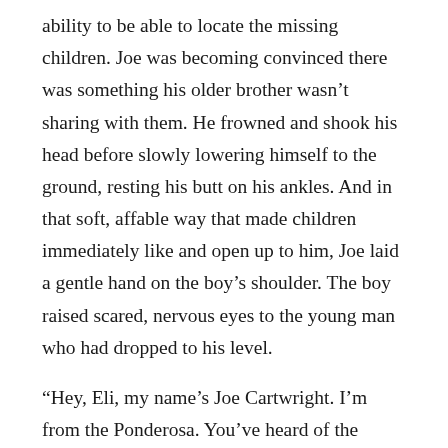ability to be able to locate the missing children. Joe was becoming convinced there was something his older brother wasn't sharing with them. He frowned and shook his head before slowly lowering himself to the ground, resting his butt on his ankles. And in that soft, affable way that made children immediately like and open up to him, Joe laid a gentle hand on the boy's shoulder. The boy raised scared, nervous eyes to the young man who had dropped to his level.

“Hey, Eli, my name’s Joe Cartwright. I’m from the Ponderosa. You’ve heard of the Ponderosa, right?”

The boy nodded.

“We’re gonna take you home, but before we go, I wanna ask you a coupla questions, if that’s okay with you.”